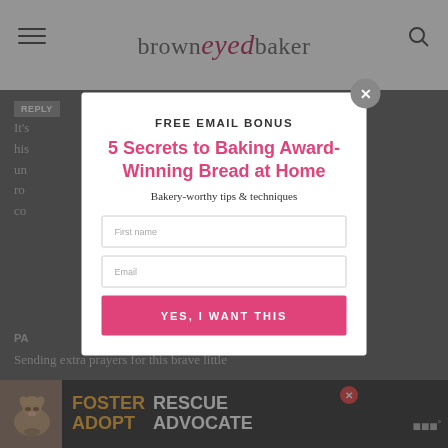browneyed baker
REPLY
It's... that Sandra's husband... are un... at ro... nd co...
[Figure (screenshot): Email signup modal popup with title FREE EMAIL BONUS, subtitle 5 Secrets to Baking Award-Winning Bread at Home, Bakery-worthy tips & techniques, First name and Email input fields, YES I WANT THIS pink button, close X button]
PA...
Sending extra prayers for this brave little
[Figure (photo): Bottom advertisement banner with dog photo, text FOSTER ADOPT RESCUE ADVOCATE in orange and white bold font on dark background]